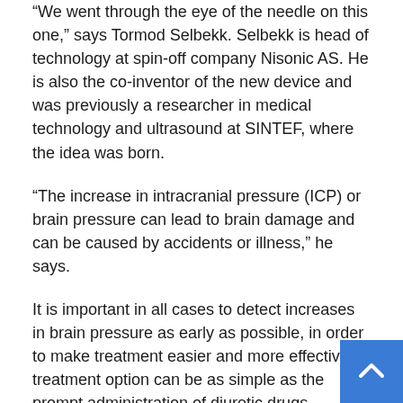“We went through the eye of the needle on this one,” says Tormod Selbekk. Selbekk is head of technology at spin-off company Nisonic AS. He is also the co-inventor of the new device and was previously a researcher in medical technology and ultrasound at SINTEF, where the idea was born.
“The increase in intracranial pressure (ICP) or brain pressure can lead to brain damage and can be caused by accidents or illness,” he says.
It is important in all cases to detect increases in brain pressure as early as possible, in order to make treatment easier and more effective. A treatment option can be as simple as the prompt administration of diuretic drugs.
Ultrasound can replace surgery
Brain pressure is currently measured directly using a sensor or